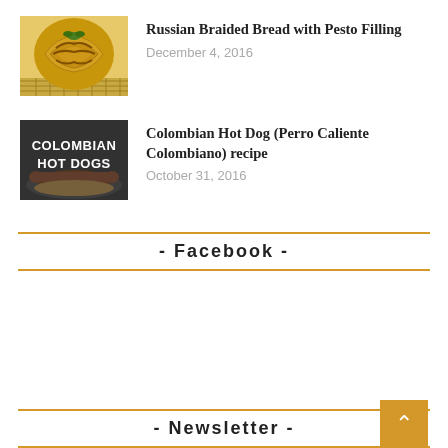[Figure (photo): Photo of Russian braided bread with pesto filling on a cooling rack, showing golden twisted bread loaf garnished with basil]
Russian Braided Bread with Pesto Filling
December 4, 2016
[Figure (photo): Dark image with white text reading 'Colombian Hot Dogs' with a hot dog in background]
Colombian Hot Dog (Perro Caliente Colombiano) recipe
October 31, 2016
- Facebook -
- Newsletter -